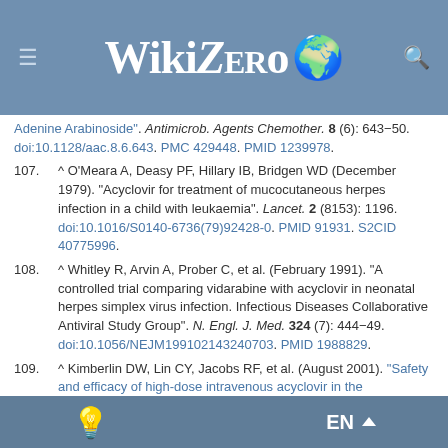WikiZero
Adenine Arabinoside". Antimicrob. Agents Chemother. 8 (6): 643–50. doi:10.1128/aac.8.6.643. PMC 429448. PMID 1239978.
107. ^ O'Meara A, Deasy PF, Hillary IB, Bridgen WD (December 1979). "Acyclovir for treatment of mucocutaneous herpes infection in a child with leukaemia". Lancet. 2 (8153): 1196. doi:10.1016/S0140-6736(79)92428-0. PMID 91931. S2CID 40775996.
108. ^ Whitley R, Arvin A, Prober C, et al. (February 1991). "A controlled trial comparing vidarabine with acyclovir in neonatal herpes simplex virus infection. Infectious Diseases Collaborative Antiviral Study Group". N. Engl. J. Med. 324 (7): 444–49. doi:10.1056/NEJM199102143240703. PMID 1988829.
109. ^ Kimberlin DW, Lin CY, Jacobs RF, et al. (August 2001). "Safety and efficacy of high-dose intravenous acyclovir in the management of neonatal herpes simplex virus infections". Pediatrics. 108 (2): 230–38. doi:10.1542/peds.108.2.230. PMID 11483782.
110. ^ Vezina C, Steben M (2001). "Genital Herpes: Psychosexual Impacts...
EN